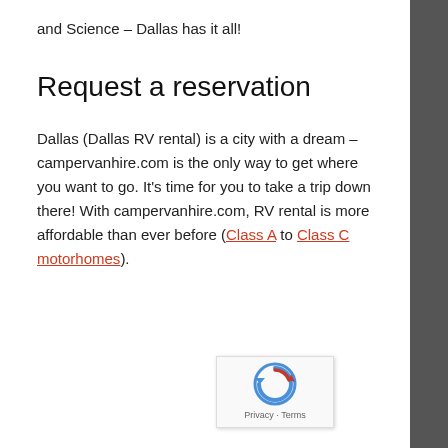and Science – Dallas has it all!
Request a reservation
Dallas (Dallas RV rental) is a city with a dream – campervanhire.com is the only way to get where you want to go. It's time for you to take a trip down there! With campervanhire.com, RV rental is more affordable than ever before (Class A to Class C motorhomes).
[Figure (logo): reCAPTCHA badge with Privacy and Terms text]